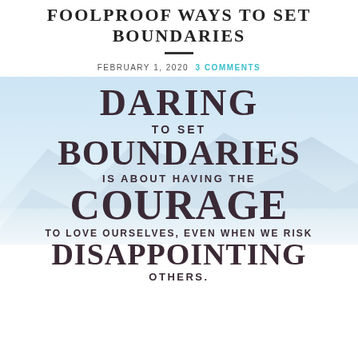FOOLPROOF WAYS TO SET BOUNDARIES
FEBRUARY 1, 2020   3 COMMENTS
[Figure (illustration): Snowy mountain landscape with inspirational quote overlay. Quote reads: 'DARING TO SET BOUNDARIES IS ABOUT HAVING THE COURAGE TO LOVE OURSELVES, EVEN WHEN WE RISK DISAPPOINTING OTHERS.']